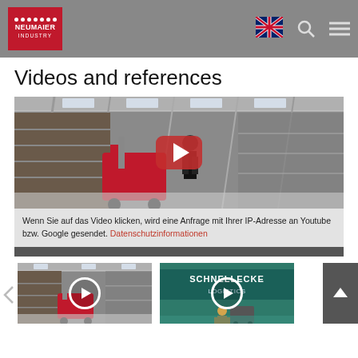[Figure (logo): Neumaier Industry logo — red background with white dots and text NEUMAIER INDUSTRY, UK flag icon, search icon, menu icon in grey header bar]
Videos and references
[Figure (screenshot): Main video thumbnail showing an industrial warehouse with a red electric pallet truck and a worker, large red YouTube-style play button in center. Below the image a caption reads: Wenn Sie auf das Video klicken, wird eine Anfrage mit Ihrer IP-Adresse an Youtube bzw. Google gesendet. Datenschutzinformationen (link in red)]
[Figure (screenshot): Thumbnail 1: warehouse scene with red forklift truck, white circular play button overlay]
[Figure (screenshot): Thumbnail 2: Schnellecke Logistics branding with worker in orange vest, white circular play button overlay]